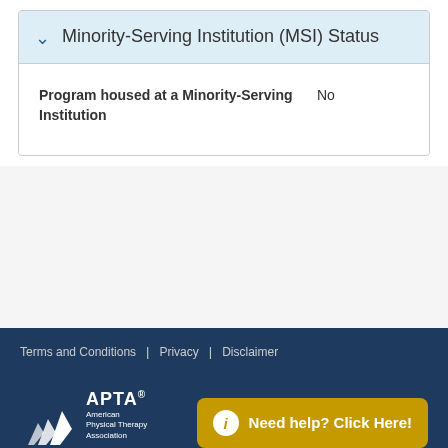Minority-Serving Institution (MSI) Status
| Field | Value |
| --- | --- |
| Program housed at a Minority-Serving Institution | No |
Terms and Conditions | Privacy | Disclaimer
[Figure (logo): APTA American Physical Therapy Association logo with chevron marks]
Need help? Click Here!